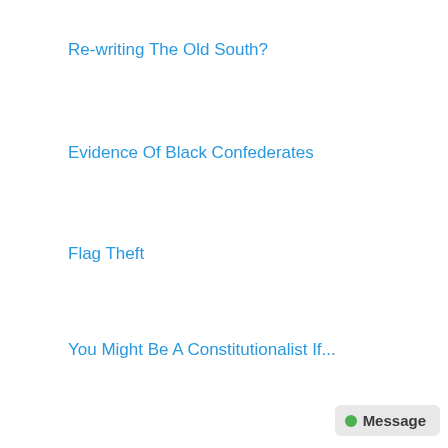Re-writing The Old South?
Evidence Of Black Confederates
Flag Theft
You Might Be A Constitutionalist If...
Targets of NAACP?
Letter to Charlotte Govt Elmwood Cemetery
I Am Their Flag
Visiting The South
What Makes A Person A True Defender Of Southern Heritage?
Coca-Cola Boycott